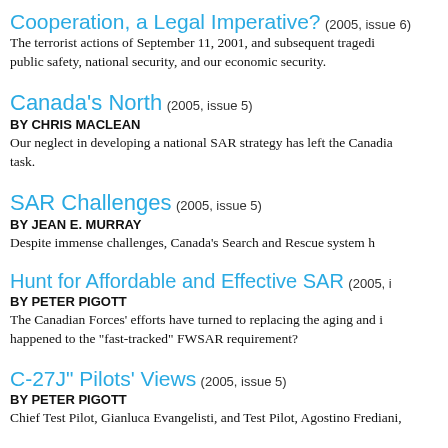Cooperation, a Legal Imperative? (2005, issue 6)
The terrorist actions of September 11, 2001, and subsequent tragedi public safety, national security, and our economic security.
Canada's North (2005, issue 5)
BY CHRIS MACLEAN
Our neglect in developing a national SAR strategy has left the Canadia task.
SAR Challenges (2005, issue 5)
BY JEAN E. MURRAY
Despite immense challenges, Canada's Search and Rescue system h
Hunt for Affordable and Effective SAR (2005, i
BY PETER PIGOTT
The Canadian Forces' efforts have turned to replacing the aging and i happened to the "fast-tracked" FWSAR requirement?
C-27J" Pilots' Views (2005, issue 5)
BY PETER PIGOTT
Chief Test Pilot, Gianluca Evangelisti, and Test Pilot, Agostino Frediani,